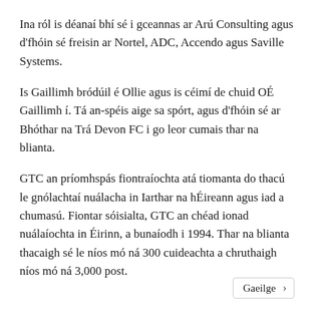Ina ról is déanaí bhí sé i gceannas ar Arú Consulting agus d'fhóin sé freisin ar Nortel, ADC, Accendo agus Saville Systems.
Is Gaillimh bródúil é Ollie agus is céimí de chuid OÉ Gaillimh í. Tá an-spéis aige sa spórt, agus d'fhóin sé ar Bhóthar na Trá Devon FC i go leor cumais thar na blianta.
GTC an príomhspás fiontraíochta atá tiomanta do thacú le gnólachtaí nuálacha in Iarthar na hÉireann agus iad a chumasú. Fiontar sóisialta, GTC an chéad ionad nuálaíochta in Éirinn, a bunaíodh i 1994. Thar na blianta thacaigh sé le níos mó ná 300 cuideachta a chruthaigh níos mó ná 3,000 post.
Gaeilge ›